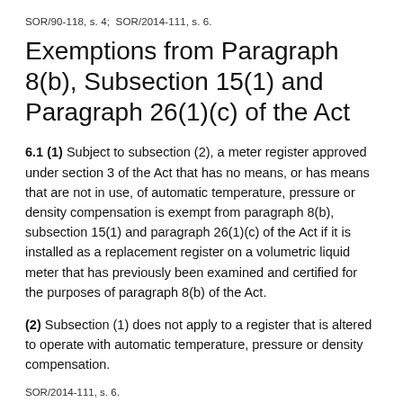SOR/90-118, s. 4;  SOR/2014-111, s. 6.
Exemptions from Paragraph 8(b), Subsection 15(1) and Paragraph 26(1)(c) of the Act
6.1 (1) Subject to subsection (2), a meter register approved under section 3 of the Act that has no means, or has means that are not in use, of automatic temperature, pressure or density compensation is exempt from paragraph 8(b), subsection 15(1) and paragraph 26(1)(c) of the Act if it is installed as a replacement register on a volumetric liquid meter that has previously been examined and certified for the purposes of paragraph 8(b) of the Act.
(2) Subsection (1) does not apply to a register that is altered to operate with automatic temperature, pressure or density compensation.
SOR/2014-111, s. 6.